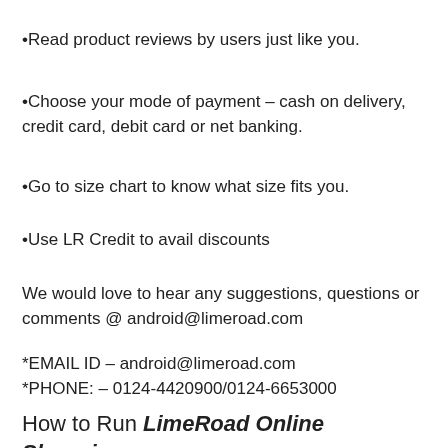•Read product reviews by users just like you.
•Choose your mode of payment – cash on delivery, credit card, debit card or net banking.
•Go to size chart to know what size fits you.
•Use LR Credit to avail discounts
We would love to hear any suggestions, questions or comments @ android@limeroad.com
*EMAIL ID – android@limeroad.com
*PHONE: – 0124-4420900/0124-6653000
How to Run LimeRoad Online Shopping